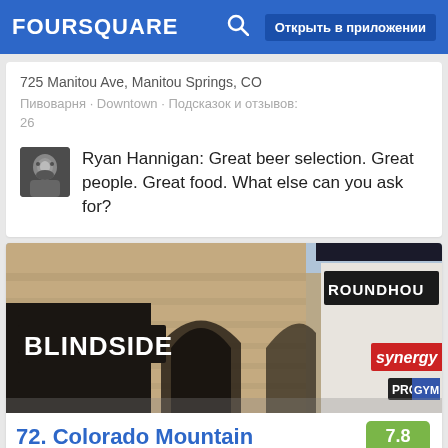FOURSQUARE  Открыть в приложении
725 Manitou Ave, Manitou Springs, CO
Пивоварня · Downtown · Подсказок и отзывов: 26
Ryan Hannigan: Great beer selection. Great people. Great food. What else can you ask for?
[Figure (photo): Exterior photo of a shopping plaza showing Blindside and Roundhouse storefronts with stone archway architecture, and Synergy and Pro gym signs visible.]
72. Colorado Mountain
7.8